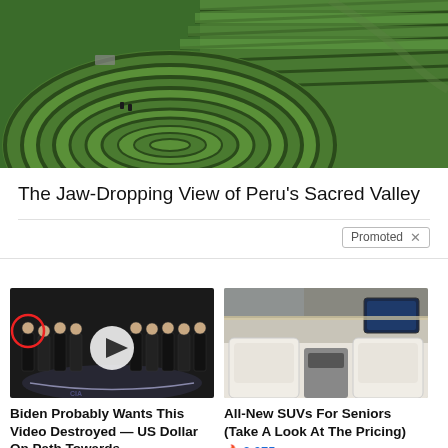[Figure (photo): Aerial view of Moray Inca terraces in Peru's Sacred Valley — concentric circular agricultural terraces with bright green grass]
The Jaw-Dropping View of Peru’s Sacred Valley
Promoted X
[Figure (photo): Group of men in suits standing in front of the CIA seal, with one person circled in red and a video play button overlay]
Biden Probably Wants This Video Destroyed — US Dollar On Path Towards Replacement?
🔥 412,712
[Figure (photo): Interior of a luxury SUV showing white leather seats and premium cabin]
All-New SUVs For Seniors (Take A Look At The Pricing)
🔥 2,075